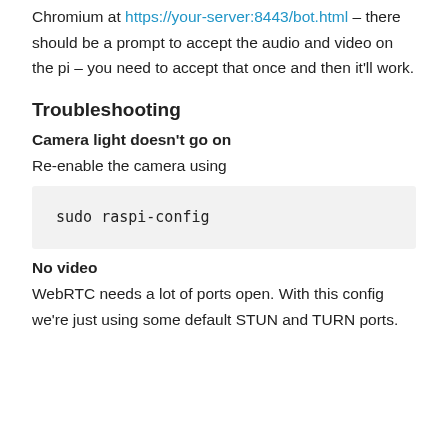Chromium at https://your-server:8443/bot.html – there should be a prompt to accept the audio and video on the pi – you need to accept that once and then it'll work.
Troubleshooting
Camera light doesn't go on
Re-enable the camera using
sudo raspi-config
No video
WebRTC needs a lot of ports open. With this config we're just using some default STUN and TURN ports.